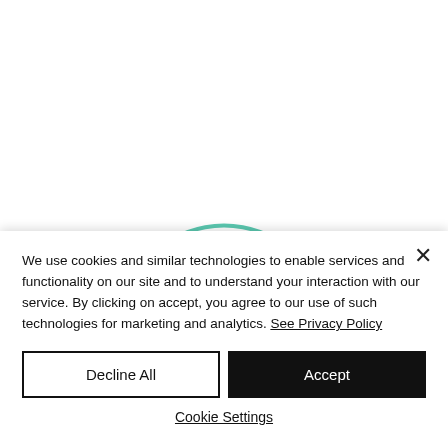[Figure (logo): Dixie Dot logo in teal/mint script lettering with pink dots forming a smiley face below the text]
We use cookies and similar technologies to enable services and functionality on our site and to understand your interaction with our service. By clicking on accept, you agree to our use of such technologies for marketing and analytics. See Privacy Policy
Decline All
Accept
Cookie Settings